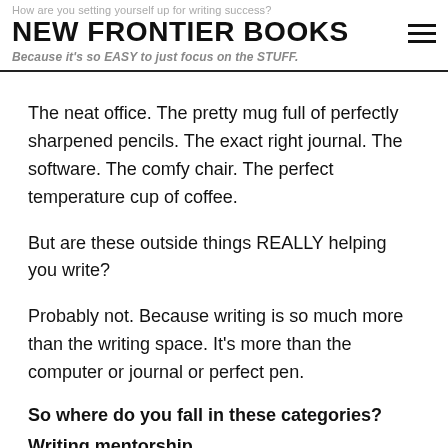How are you setting yourself up for writing success?
NEW FRONTIER BOOKS
Because it's so EASY to just focus on the STUFF.
The neat office. The pretty mug full of perfectly sharpened pencils. The exact right journal. The software. The comfy chair. The perfect temperature cup of coffee.
But are these outside things REALLY helping you write?
Probably not. Because writing is so much more than the writing space. It's more than the computer or journal or perfect pen.
So where do you fall in these categories?
Writing mentorship